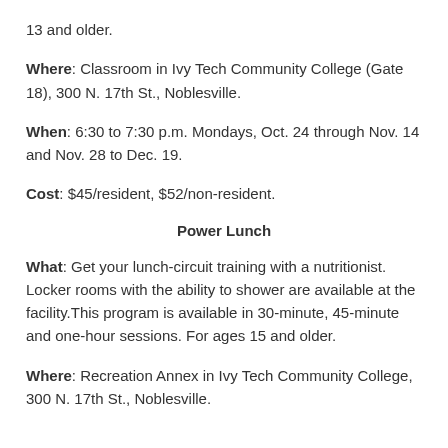13 and older.
Where: Classroom in Ivy Tech Community College (Gate 18), 300 N. 17th St., Noblesville.
When: 6:30 to 7:30 p.m. Mondays, Oct. 24 through Nov. 14 and Nov. 28 to Dec. 19.
Cost: $45/resident, $52/non-resident.
Power Lunch
What: Get your lunch-circuit training with a nutritionist. Locker rooms with the ability to shower are available at the facility. This program is available in 30-minute, 45-minute and one-hour sessions. For ages 15 and older.
Where: Recreation Annex in Ivy Tech Community College, 300 N. 17th St., Noblesville.